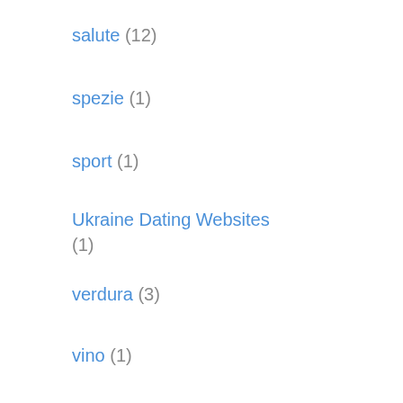salute (12)
spezie (1)
sport (1)
Ukraine Dating Websites (1)
verdura (3)
vino (1)
Windows 10 Dll (1)
Ultimi Articoli
Common Benefits Of Cbd Tinctures
29 JUNE 2022